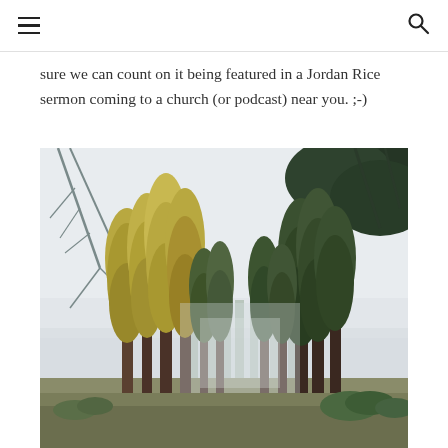≡  🔍
sure we can count on it being featured in a Jordan Rice sermon coming to a church (or podcast) near you. ;-)
[Figure (photo): A forest landscape photograph showing tall sequoia/pine trees against a pale overcast sky, with a meadow in the foreground. Trees have golden-yellow and green foliage; sparse bare branches visible on left and upper right.]